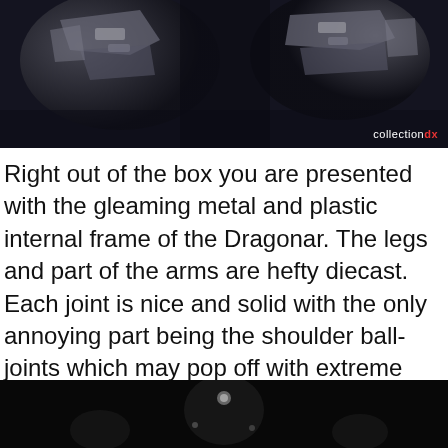[Figure (photo): Close-up photo of a dark metallic/grey robot figure internal frame with joint components visible against a dark background. CollectionDX watermark in bottom right corner.]
Right out of the box you are presented with the gleaming metal and plastic internal frame of the Dragonar. The legs and part of the arms are hefty diecast. Each joint is nice and solid with the only annoying part being the shoulder ball-joints which may pop off with extreme posing. Another odd thing is the two white panels on the thighs that have to be removed before the armor can be applied.
[Figure (photo): Bottom portion of a dark photo showing what appears to be robot figure components against a black background.]